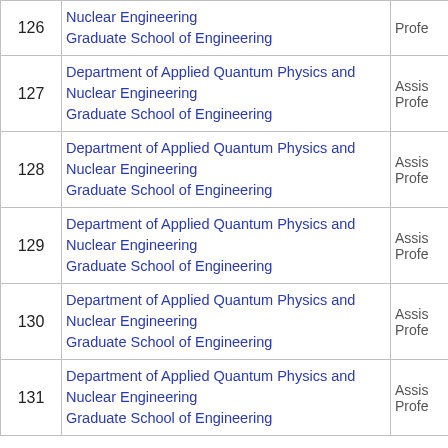| # | Department | Role |
| --- | --- | --- |
| 126 | Department of Applied Quantum Physics and Nuclear Engineering
Graduate School of Engineering | Profe... |
| 127 | Department of Applied Quantum Physics and Nuclear Engineering
Graduate School of Engineering | Assis... Profe... |
| 128 | Department of Applied Quantum Physics and Nuclear Engineering
Graduate School of Engineering | Assis... Profe... |
| 129 | Department of Applied Quantum Physics and Nuclear Engineering
Graduate School of Engineering | Assis... Profe... |
| 130 | Department of Applied Quantum Physics and Nuclear Engineering
Graduate School of Engineering | Assis... Profe... |
| 131 | Department of Applied Quantum Physics and Nuclear Engineering
Graduate School of Engineering | Assis... Profe... |